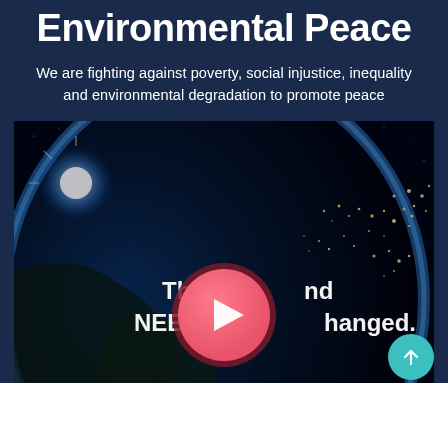Environmental Peace
We are fighting against poverty, social injustice, inequality and environmental degradation to promote peace
[Figure (screenshot): Video thumbnail showing Earth from space at night with city lights visible, overlaid with text 'This C[hange] and NEEDS to [be C]hanged.' and a pink/red circular play button in the center]